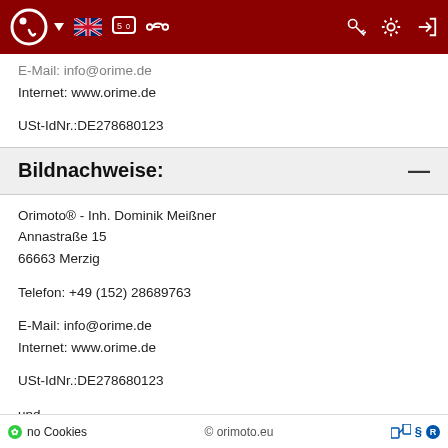Orimoto website navigation bar
E-Mail: info@orime.de
Internet: www.orime.de

USt-IdNr.:DE278680123
Bildnachweise:
Orimoto® - Inh. Dominik Meißner
Annastraße 15
66663 Merzig

Telefon: +49 (152) 28689763

E-Mail: info@orime.de
Internet: www.orime.de

USt-IdNr.:DE278680123

und
no Cookies   © orimoto.eu